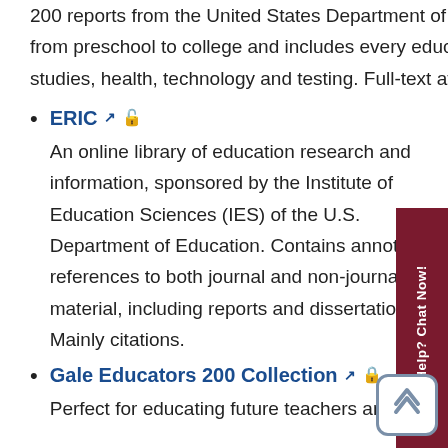200 reports from the United States Department of Education. Covers multiple levels of education from preschool to college and includes every educational specialty, such as bilingual education studies, health, technology and testing. Full-text available.
ERIC — An online library of education research and information, sponsored by the Institute of Education Sciences (IES) of the U.S. Department of Education. Contains annotated references to both journal and non-journal material, including reports and dissertations. Mainly citations.
Gale Educators 200 Collection — Perfect for educating future teachers and administrators, this set includes over 250 titles...